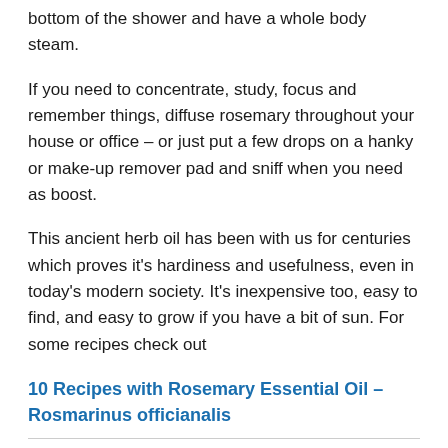bottom of the shower and have a whole body steam.
If you need to concentrate, study, focus and remember things, diffuse rosemary throughout your house or office – or just put a few drops on a hanky or make-up remover pad and sniff when you need as boost.
This ancient herb oil has been with us for centuries which proves it's hardiness and usefulness, even in today's modern society. It's inexpensive too, easy to find, and easy to grow if you have a bit of sun. For some recipes check out
10 Recipes with Rosemary Essential Oil – Rosmarinus officianalis